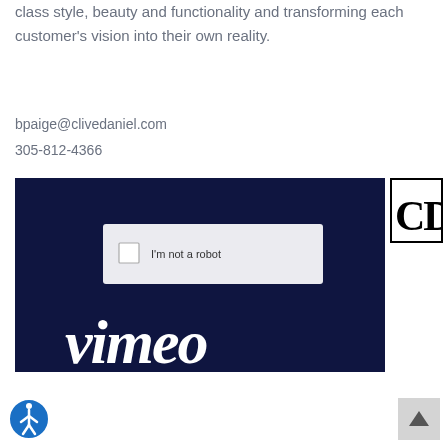class style, beauty and functionality and transforming each customer's vision into their own reality.
bpaige@clivedaniel.com
305-812-4366
[Figure (screenshot): Screenshot showing a CAPTCHA 'I'm not a robot' checkbox widget overlaid on a Vimeo dark navy background with the Vimeo logo in white italic text at the bottom]
[Figure (logo): Clive Daniel logo: CD letters in bold serif font inside a black border box]
[Figure (other): Circular accessibility icon button with person figure]
[Figure (other): Scroll to top button with up arrow]